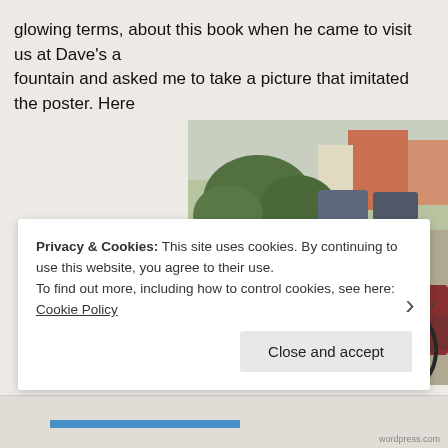glowing terms, about this book when he came to visit us at Dave's a... fountain and asked me to take a picture that imitated the poster. Here...
[Figure (photo): A bicycle parked on a sidewalk near a street corner, with trees and buildings visible in the background. A red vehicle is partially visible on the right side.]
Privacy & Cookies: This site uses cookies. By continuing to use this website, you agree to their use.
To find out more, including how to control cookies, see here: Cookie Policy
[Close and accept]